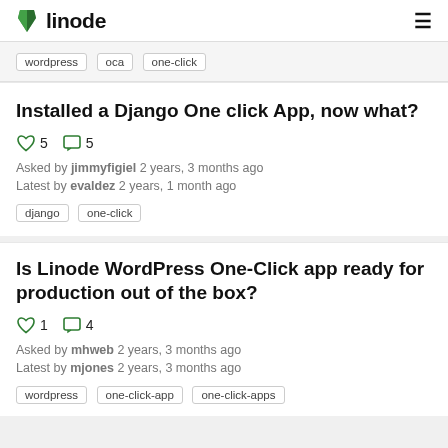linode
wordpress  oca  one-click
Installed a Django One click App, now what?
5 likes, 5 comments
Asked by jimmyfigiel 2 years, 3 months ago
Latest by evaldez 2 years, 1 month ago
django  one-click
Is Linode WordPress One-Click app ready for production out of the box?
1 like, 4 comments
Asked by mhweb 2 years, 3 months ago
Latest by mjones 2 years, 3 months ago
wordpress  one-click-app  one-click-apps